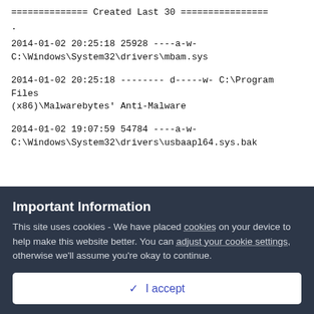============== Created Last 30 ================
.
2014-01-02 20:25:18 25928 ----a-w- C:\Windows\System32\drivers\mbam.sys
2014-01-02 20:25:18 -------- d-----w- C:\Program Files (x86)\Malwarebytes' Anti-Malware
2014-01-02 19:07:59 54784 ----a-w- C:\Windows\System32\drivers\usbaapl64.sys.bak
Important Information
This site uses cookies - We have placed cookies on your device to help make this website better. You can adjust your cookie settings, otherwise we'll assume you're okay to continue.
✓  I accept